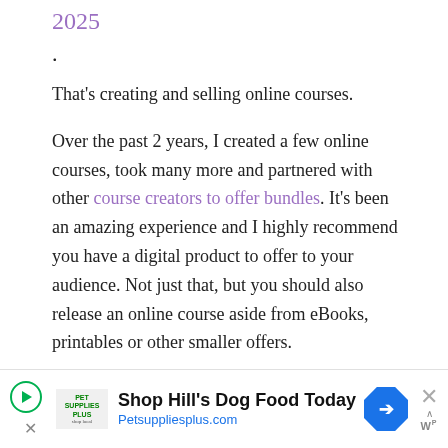2025.
That's creating and selling online courses.
Over the past 2 years, I created a few online courses, took many more and partnered with other course creators to offer bundles. It's been an amazing experience and I highly recommend you have a digital product to offer to your audience. Not just that, but you should also release an online course aside from eBooks, printables or other smaller offers.
[Figure (other): Advertisement banner for Hill's Dog Food / Petsuppliesplus.com with logo, play button, navigation arrow icon, close X button, and WordPress logo]